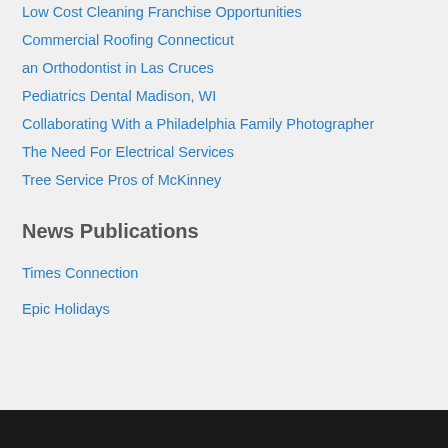Low Cost Cleaning Franchise Opportunities
Commercial Roofing Connecticut
an Orthodontist in Las Cruces
Pediatrics Dental Madison, WI
Collaborating With a Philadelphia Family Photographer
The Need For Electrical Services
Tree Service Pros of McKinney
News Publications
Times Connection
Epic Holidays